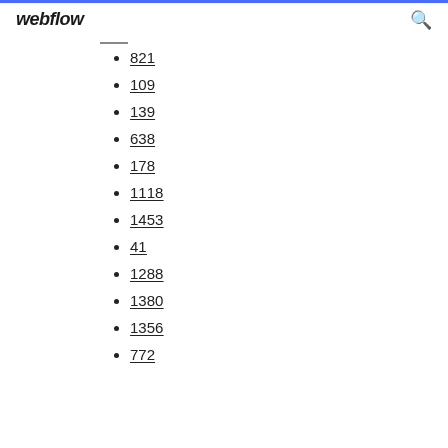webflow
821
109
139
638
178
1118
1453
41
1288
1380
1356
772